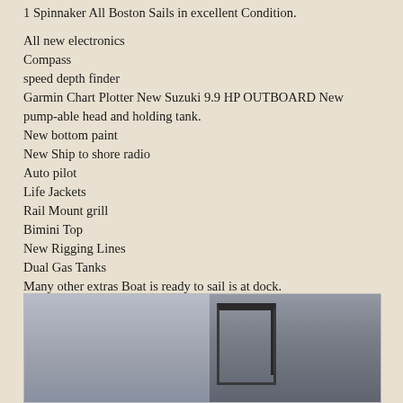1 Spinnaker All Boston Sails in excellent Condition.
All new electronics
Compass
speed depth finder
Garmin Chart Plotter New Suzuki 9.9 HP OUTBOARD New pump-able head and holding tank.
New bottom paint
New Ship to shore radio
Auto pilot
Life Jackets
Rail Mount grill
Bimini Top
New Rigging Lines
Dual Gas Tanks
Many other extras Boat is ready to sail is at dock.
[Figure (photo): Black and white photograph of a boat, showing the deck and cockpit area with railings visible on the right side.]